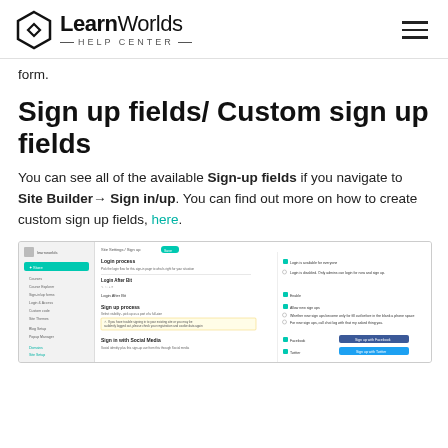LearnWorlds Help Center
form.
Sign up fields/ Custom sign up fields
You can see all of the available Sign-up fields if you navigate to Site Builder→ Sign in/up. You can find out more on how to create custom sign up fields, here.
[Figure (screenshot): Screenshot of LearnWorlds Site Builder Sign-in/up settings page showing login process options, login after fields, sign-up options with social media buttons for Facebook and Twitter.]